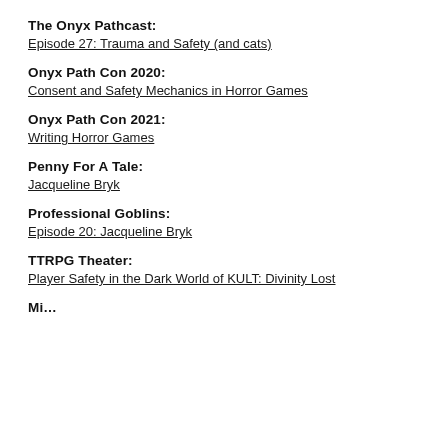The Onyx Pathcast:
Episode 27: Trauma and Safety (and cats)
Onyx Path Con 2020:
Consent and Safety Mechanics in Horror Games
Onyx Path Con 2021:
Writing Horror Games
Penny For A Tale:
Jacqueline Bryk
Professional Goblins:
Episode 20: Jacqueline Bryk
TTRPG Theater:
Player Safety in the Dark World of KULT: Divinity Lost
Mi…